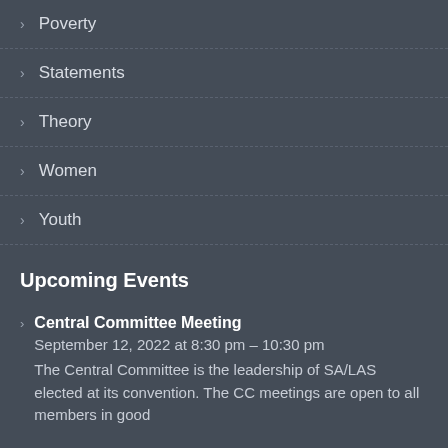Poverty
Statements
Theory
Women
Youth
Upcoming Events
Central Committee Meeting
September 12, 2022 at 8:30 pm – 10:30 pm
The Central Committee is the leadership of SA/LAS elected at its convention. The CC meetings are open to all members in good